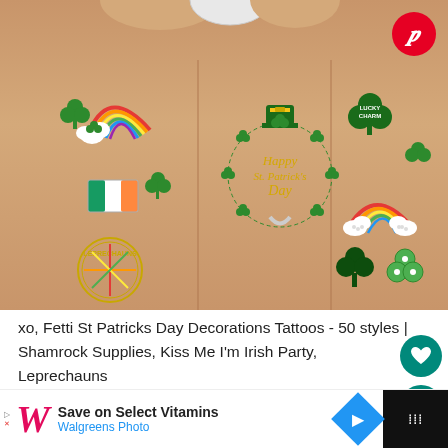[Figure (photo): Three wrists side by side with St. Patrick's Day temporary tattoos including shamrocks, rainbow, Irish flag, Lucky Charm text, Happy St. Patrick's Day script, and leprechaun designs. White painted fingernails visible at top. Pinterest logo button in top right corner.]
xo, Fetti St Patricks Day Decorations Tattoos - 50 styles | Shamrock Supplies, Kiss Me I'm Irish Party, Leprechauns
CONTINUE READING
Save on Select Vitamins
Walgreens Photo